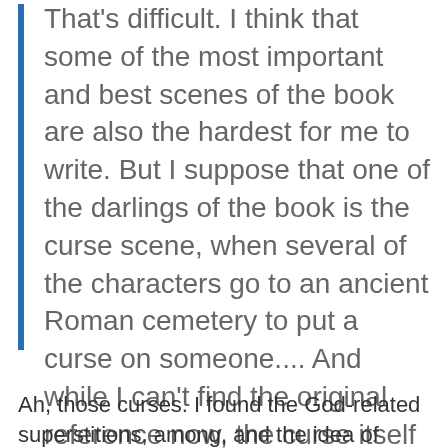That's difficult. I think that some of the most important and best scenes of the book are also the hardest for me to write. But I suppose that one of the darlings of the book is the curse scene, when several of the characters go to an ancient Roman cemetery to put a curse on someone.... And while I can't find the original reference now, the curse itself is an actual Roman curse that I found in some history book, which I modified just slightly to accommodate the person cursed and the family doing the cursing, plus the right Gods for the book.
Ah, those curses. I found the God-related superstitions, among, and the idea of cursing others...